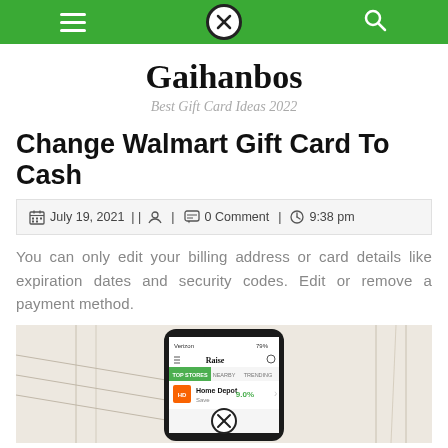Navigation bar with hamburger menu, X logo, and search icon
Gaihanbos
Best Gift Card Ideas 2022
Change Walmart Gift Card To Cash
July 19, 2021 | | [author icon] | [comment icon] 0 Comment | [clock icon] 9:38 pm
You can only edit your billing address or card details like expiration dates and security codes. Edit or remove a payment method.
[Figure (illustration): Illustration showing a smartphone displaying the Raise app (with Top Stores, Nearby, Trending tabs and Home Depot listing showing 9.0% savings) surrounded by a stylized store interior background drawing]